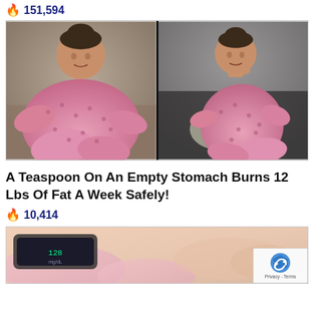🔥 151,594
[Figure (photo): Before and after comparison photo of a woman in pink pajamas/outfit, sitting on a couch. Left side shows heavier figure, right side shows slimmer figure.]
A Teaspoon On An Empty Stomach Burns 12 Lbs Of Fat A Week Safely!
🔥 10,414
[Figure (photo): Partially visible image at bottom of page showing what appears to be hands or medical/health-related content, with a reCAPTCHA badge in the bottom right corner showing Privacy - Terms.]